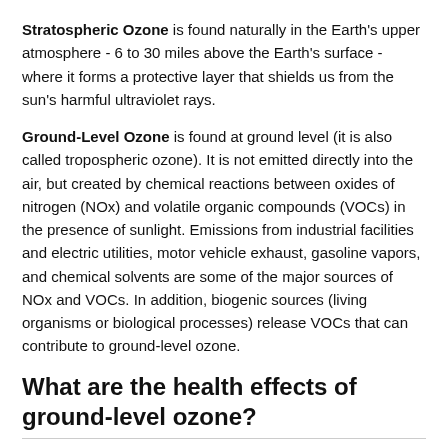Stratospheric Ozone is found naturally in the Earth's upper atmosphere - 6 to 30 miles above the Earth's surface - where it forms a protective layer that shields us from the sun's harmful ultraviolet rays.
Ground-Level Ozone is found at ground level (it is also called tropospheric ozone). It is not emitted directly into the air, but created by chemical reactions between oxides of nitrogen (NOx) and volatile organic compounds (VOCs) in the presence of sunlight. Emissions from industrial facilities and electric utilities, motor vehicle exhaust, gasoline vapors, and chemical solvents are some of the major sources of NOx and VOCs. In addition, biogenic sources (living organisms or biological processes) release VOCs that can contribute to ground-level ozone.
What are the health effects of ground-level ozone?
Ground-level ozone is of particular importance because it is a respiratory toxic agent that can cause acute respiratory health effects when people breathe high concentrations of it over several hours. These effects include decreased lung function and pain with deep breaths, and